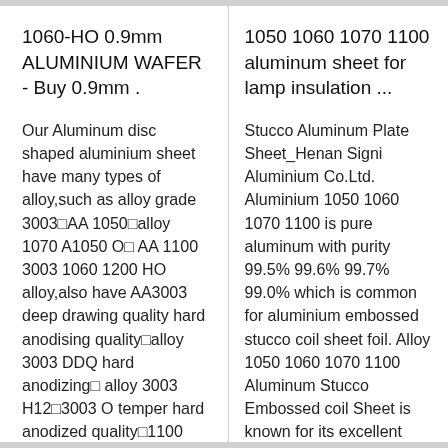1060-HO 0.9mm ALUMINIUM WAFER - Buy 0.9mm .
Our Aluminum disc shaped aluminium sheet have many types of alloy,such as alloy grade 3003 AA 1050 alloy 1070 A1050 O AA 1100 3003 1060 1200 HO alloy,also have AA3003 deep drawing quality hard anodising quality alloy 3003 DDQ hard anodizing alloy 3003 H12 3003 O temper hard anodized quality 1100 3003 anodized quality alloy 1100 ...
1050 1060 1070 1100 aluminum sheet for lamp insulation ...
Stucco Aluminum Plate Sheet_Henan Signi Aluminium Co.Ltd. Aluminium 1050 1060 1070 1100 is pure aluminum with purity 99.5% 99.6% 99.7% 99.0% which is common for aluminium embossed stucco coil sheet foil. Alloy 1050 1060 1070 1100 Aluminum Stucco Embossed coil Sheet is known for its excellent corrosion . Get Price